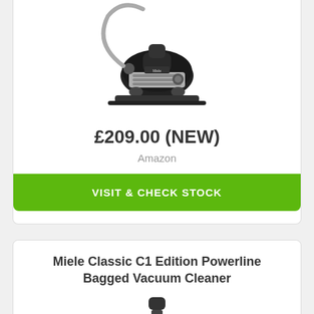[Figure (photo): Black Miele bagged canister vacuum cleaner with hose and floor attachment on white background]
£209.00 (NEW)
Amazon
VISIT & CHECK STOCK
Miele Classic C1 Edition Powerline Bagged Vacuum Cleaner
[Figure (photo): Miele Classic C1 Edition Powerline Bagged Vacuum Cleaner partially visible, showing handle and tube on white background]